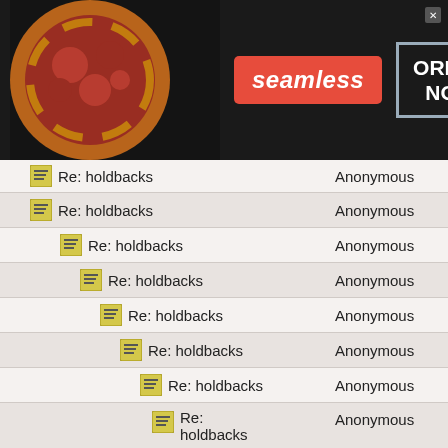[Figure (screenshot): Seamless food delivery advertisement banner with pizza image, red Seamless logo badge, and ORDER NOW button]
| Subject | Author |
| --- | --- |
| Re: holdbacks | Anonymous |
| Re: holdbacks | Anonymous |
| Re: holdbacks | Anonymous |
| Re: holdbacks | Anonymous |
| Re: holdbacks | Anonymous |
| Re: holdbacks | Anonymous |
| Re: holdbacks | Anonymous |
| Re: holdbacks | Anonymous |
| Re: holdbacks | Anonymous |
| Re: holdbacks | Anonymous |
[Figure (screenshot): Ulta Beauty advertisement with makeup photos and SHOP NOW button]